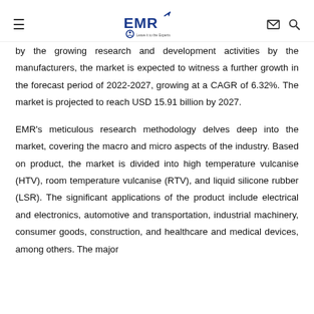EMR - Leave it to the Experts
by the growing research and development activities by the manufacturers, the market is expected to witness a further growth in the forecast period of 2022-2027, growing at a CAGR of 6.32%. The market is projected to reach USD 15.91 billion by 2027.
EMR's meticulous research methodology delves deep into the market, covering the macro and micro aspects of the industry. Based on product, the market is divided into high temperature vulcanise (HTV), room temperature vulcanise (RTV), and liquid silicone rubber (LSR). The significant applications of the product include electrical and electronics, automotive and transportation, industrial machinery, consumer goods, construction, and healthcare and medical devices, among others. The major